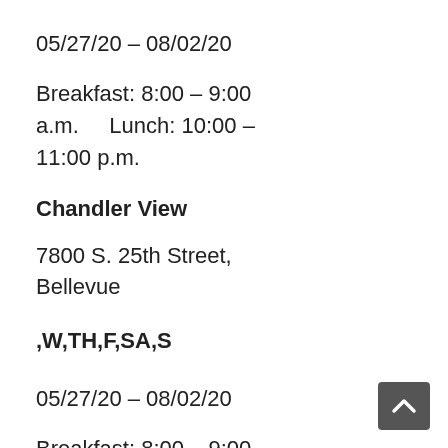05/27/20 – 08/02/20
Breakfast: 8:00 – 9:00 a.m.     Lunch: 10:00 – 11:00 p.m.
Chandler View
7800 S. 25th Street, Bellevue
,W,TH,F,SA,S
05/27/20 – 08/02/20
Breakfast: 8:00 – 9:00 a.m.     Lunch: 10:00 –